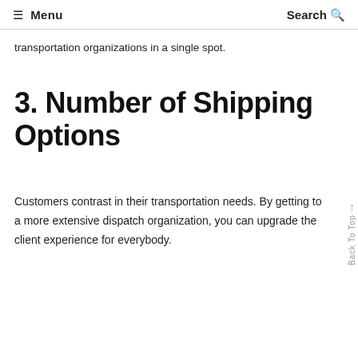≡ Menu   Search 🔍
transportation organizations in a single spot.
3. Number of Shipping Options
Customers contrast in their transportation needs. By getting to a more extensive dispatch organization, you can upgrade the client experience for everybody.